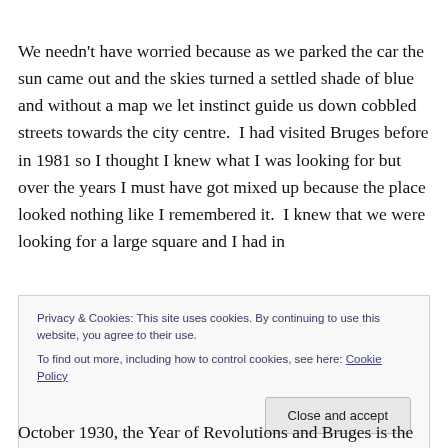We needn't have worried because as we parked the car the sun came out and the skies turned a settled shade of blue and without a map we let instinct guide us down cobbled streets towards the city centre.  I had visited Bruges before in 1981 so I thought I knew what I was looking for but over the years I must have got mixed up because the place looked nothing like I remembered it.  I knew that we were looking for a large square and I had in
Privacy & Cookies: This site uses cookies. By continuing to use this website, you agree to their use.
To find out more, including how to control cookies, see here: Cookie Policy
October 1930, the Year of Revolutions and Bruges is the